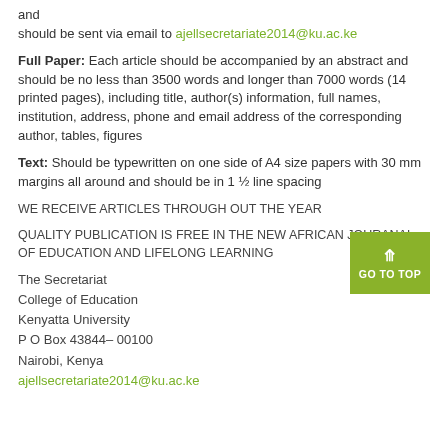and
should be sent via email to ajellsecretariate2014@ku.ac.ke
Full Paper: Each article should be accompanied by an abstract and should be no less than 3500 words and longer than 7000 words (14 printed pages), including title, author(s) information, full names, institution, address, phone and email address of the corresponding author, tables, figures
Text: Should be typewritten on one side of A4 size papers with 30 mm margins all around and should be in 1 ½ line spacing
WE RECEIVE ARTICLES THROUGH OUT THE YEAR
QUALITY PUBLICATION IS FREE IN THE NEW AFRICAN JOURANAL OF EDUCATION AND LIFELONG LEARNING
The Secretariat
College of Education
Kenyatta University
P O Box 43844– 00100
Nairobi, Kenya
ajellsecretariate2014@ku.ac.ke